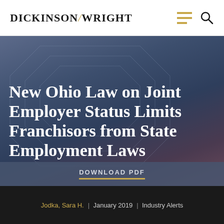Dickinson Wright
New Ohio Law on Joint Employer Status Limits Franchisors from State Employment Laws
DOWNLOAD PDF
Jodka, Sara H. | January 2019 | Industry Alerts